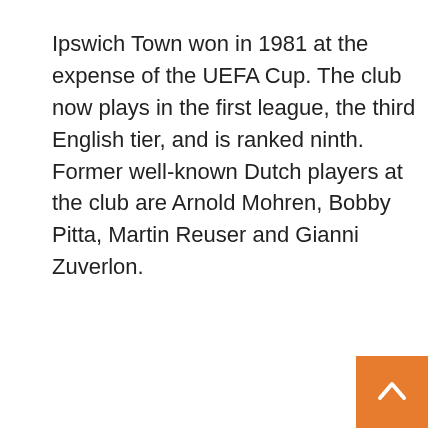Ipswich Town won in 1981 at the expense of the UEFA Cup. The club now plays in the first league, the third English tier, and is ranked ninth. Former well-known Dutch players at the club are Arnold Mohren, Bobby Pitta, Martin Reuser and Gianni Zuverlon.
[Figure (other): Orange square button with a white upward-pointing chevron arrow (back to top button)]